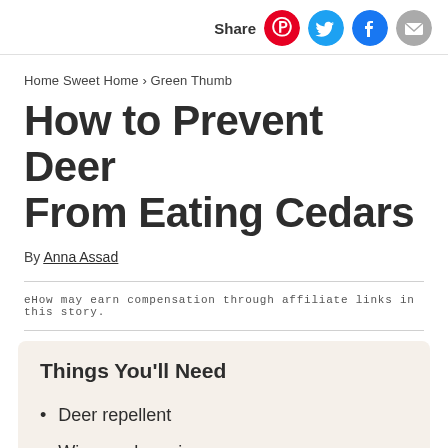Share
Home Sweet Home > Green Thumb
How to Prevent Deer From Eating Cedars
By Anna Assad
eHow may earn compensation through affiliate links in this story.
Things You'll Need
Deer repellent
Wire mesh caging